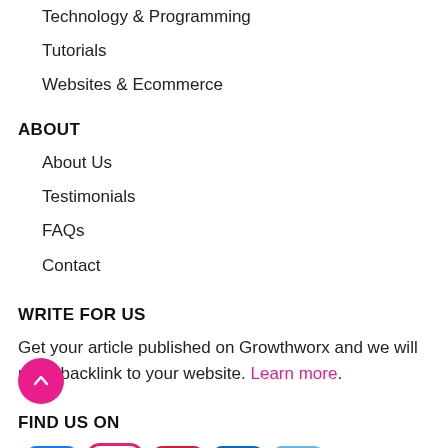Technology & Programming
Tutorials
Websites & Ecommerce
ABOUT
About Us
Testimonials
FAQs
Contact
WRITE FOR US
Get your article published on Growthworx and we will put a backlink to your website. Learn more.
FIND US ON
[Figure (infographic): Row of social media icons: Facebook, Instagram, Pinterest, LinkedIn, Twitter]